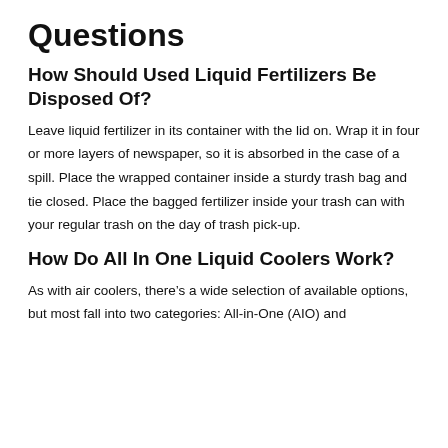Questions
How Should Used Liquid Fertilizers Be Disposed Of?
Leave liquid fertilizer in its container with the lid on. Wrap it in four or more layers of newspaper, so it is absorbed in the case of a spill. Place the wrapped container inside a sturdy trash bag and tie closed. Place the bagged fertilizer inside your trash can with your regular trash on the day of trash pick-up.
How Do All In One Liquid Coolers Work?
As with air coolers, there’s a wide selection of available options, but most fall into two categories: All-in-One (AIO) and…